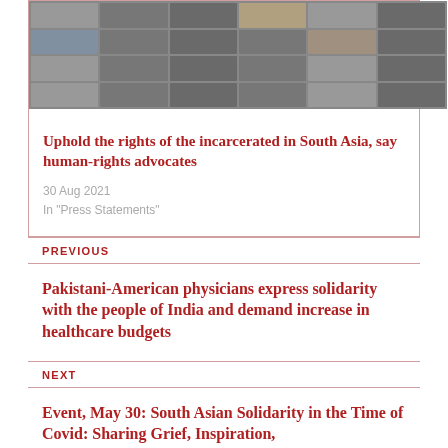[Figure (screenshot): Screenshot of a virtual meeting/video call with multiple participants shown in a grid layout]
Uphold the rights of the incarcerated in South Asia, say human-rights advocates
30 Aug 2021
In "Press Statements"
PREVIOUS
Pakistani-American physicians express solidarity with the people of India and demand increase in healthcare budgets
NEXT
Event, May 30: South Asian Solidarity in the Time of Covid: Sharing Grief, Inspiration,